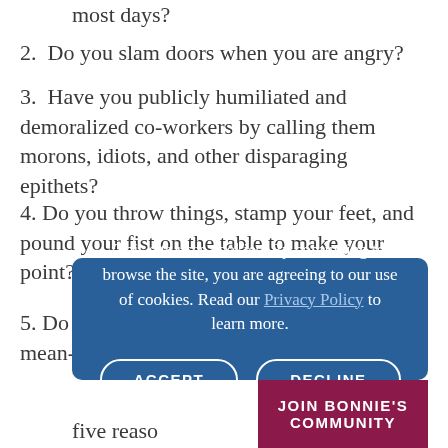most days?
2.  Do you slam doors when you are angry?
3.  Have you publicly humiliated and demoralized co-workers by calling them morons, idiots, and other disparaging epithets?
4. Do you throw things, stamp your feet, and pound your fist on the table to make your point?
5. Do you make fun of co-workers with mean-
This site uses cookies. By continuing to browse the site, you are agreeing to our use of cookies. Read our Privacy Policy to learn more.
ACCEPT   DECLINE
five reaso
JOIN BONNIE'S COMMUNITY